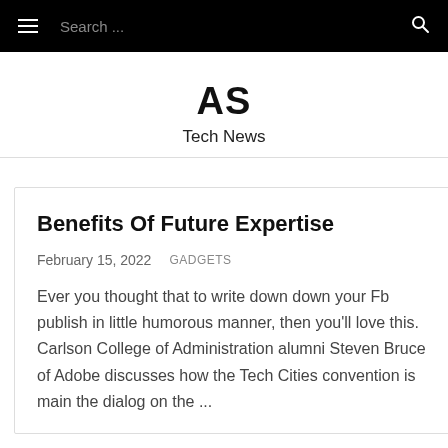Search ...
AS
Tech News
Benefits Of Future Expertise
February 15, 2022   GADGETS
Ever you thought that to write down down your Fb publish in little humorous manner, then you'll love this. Carlson College of Administration alumni Steven Bruce of Adobe discusses how the Tech Cities convention is main the dialog on the ...